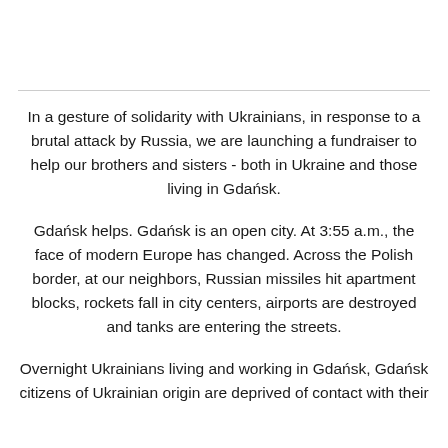In a gesture of solidarity with Ukrainians, in response to a brutal attack by Russia, we are launching a fundraiser to help our brothers and sisters - both in Ukraine and those living in Gdańsk.
Gdańsk helps. Gdańsk is an open city. At 3:55 a.m., the face of modern Europe has changed. Across the Polish border, at our neighbors, Russian missiles hit apartment blocks, rockets fall in city centers, airports are destroyed and tanks are entering the streets.
Overnight Ukrainians living and working in Gdańsk, Gdańsk citizens of Ukrainian origin are deprived of contact with their